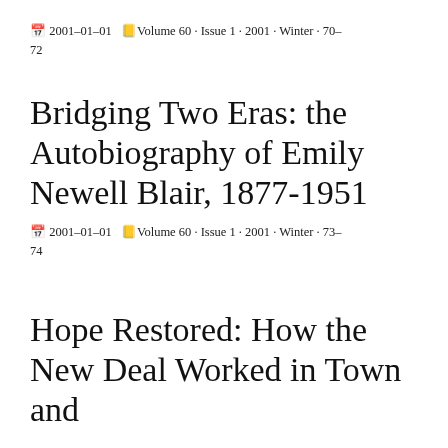📅 2001-01-01  🗒 Volume 60 · Issue 1 · 2001 · Winter · 70-72
Bridging Two Eras: the Autobiography of Emily Newell Blair, 1877-1951
📅 2001-01-01  🗒 Volume 60 · Issue 1 · 2001 · Winter · 73-74
Hope Restored: How the New Deal Worked in Town and